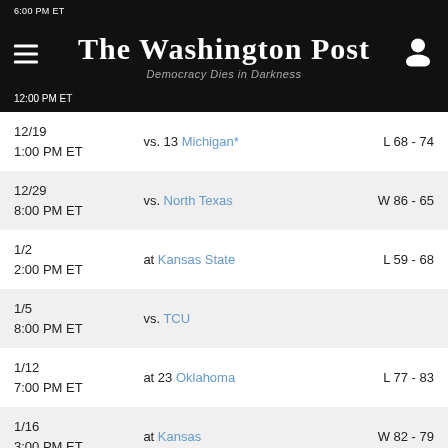The Washington Post
Democracy Dies in Darkness
| Date/Time | Matchup | Result |
| --- | --- | --- |
| 12/19
1:00 PM ET | vs. 13 Michigan* | L 68 - 74 |
| 12/29
8:00 PM ET | vs. North Texas | W 86 - 65 |
| 1/2
2:00 PM ET | at Kansas State | L 59 - 68 |
| 1/5
8:00 PM ET | vs. TCU |  |
| 1/12
7:00 PM ET | at 23 Oklahoma | L 77 - 83 |
| 1/16
3:00 PM ET | at Kansas | W 82 - 79 |
| 1/19
8:00 PM ET | vs. Oklahoma State | W 67 - 49 |